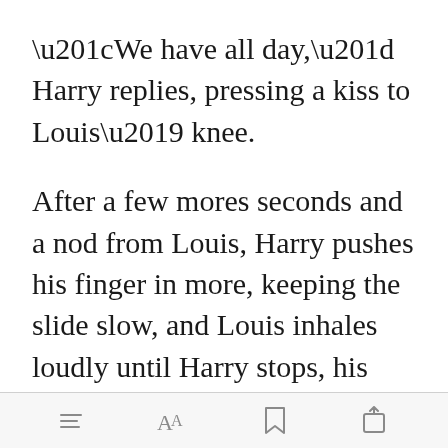“We have all day,” Harry replies, pressing a kiss to Louis’ knee.
After a few mores seconds and a nod from Louis, Harry pushes his finger in more, keeping the slide slow, and Louis inhales loudly until Harry stops, his knuckle pressed against the rim. The two of them stop breathing [Open in app] moment, and
[menu] [Aa] [bookmark] [share]